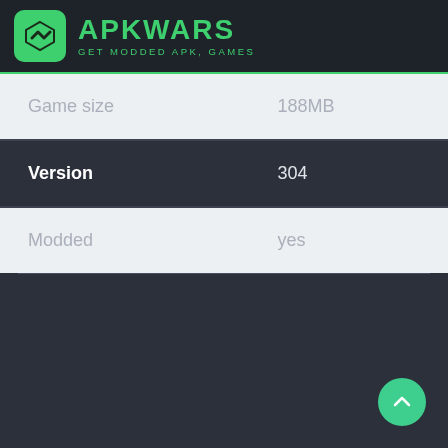[Figure (logo): APKWARS logo with green icon and text 'APKWARS GET MODDED APK, GAMES']
| Game size | 188MB |
| Version | 304 |
| Modded | yes |